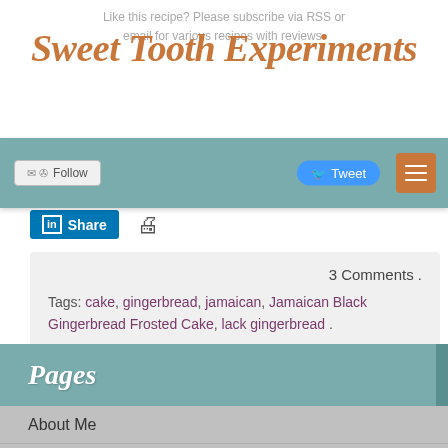Like this recipe? Please subscribe via RSS or email for various recipes with reviews.
Sweet Tooth Experiments
[Figure (screenshot): Navigation bar with Follow button, Tweet button, and hamburger menu on teal background]
[Figure (screenshot): Facebook Share button (blue pill) and LinkedIn Share button with printer icon]
3 Comments .
Tags: cake, gingerbread, jamaican, Jamaican Black Gingerbread Frosted Cake, lack gingerbread .
Pages
About Me
Baking Metrics
Blogroll
Common Baking Questions